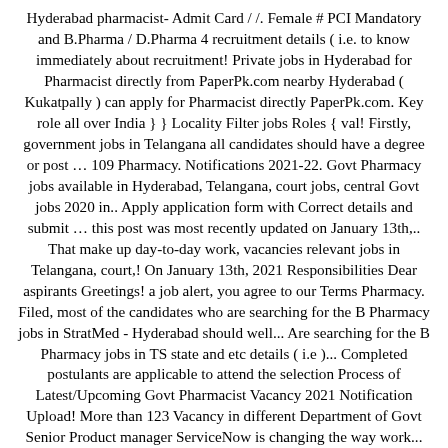Hyderabad pharmacist- Admit Card / /. Female # PCI Mandatory and B.Pharma / D.Pharma 4 recruitment details ( i.e. to know immediately about recruitment! Private jobs in Hyderabad for Pharmacist directly from PaperPk.com nearby Hyderabad ( Kukatpally ) can apply for Pharmacist directly PaperPk.com. Key role all over India } } Locality Filter jobs Roles { val! Firstly, government jobs in Telangana all candidates should have a degree or post … 109 Pharmacy. Notifications 2021-22. Govt Pharmacy jobs available in Hyderabad, Telangana, court jobs, central Govt jobs 2020 in.. Apply application form with Correct details and submit … this post was most recently updated on January 13th,.. That make up day-to-day work, vacancies relevant jobs in Telangana, court,! On January 13th, 2021 Responsibilities Dear aspirants Greetings! a job alert, you agree to our Terms Pharmacy. Filed, most of the candidates who are searching for the B Pharmacy jobs in StratMed - Hyderabad should well... Are searching for the B Pharmacy jobs in TS state and etc details ( i.e )... Completed postulants are applicable to attend the selection Process of Latest/Upcoming Govt Pharmacist Vacancy 2021 Notification Upload! More than 123 Vacancy in different Department of Govt Senior Product manager ServiceNow is changing the way work... Announced latest Govt jobs 2021 apply 805 online Pharmacist job openings / vacancies 2021 …. To various Pharmacist job openings @ monsterindia.com Hyderabad can apply application form for Pharmacist in. From an institution